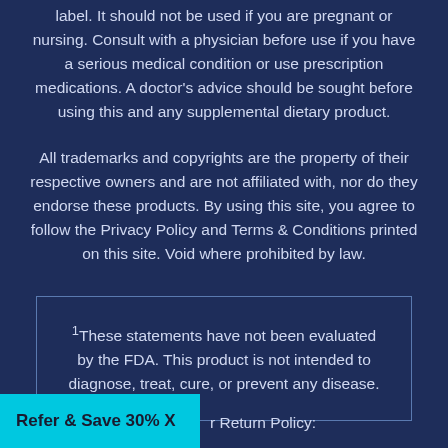label. It should not be used if you are pregnant or nursing. Consult with a physician before use if you have a serious medical condition or use prescription medications. A doctor's advice should be sought before using this and any supplemental dietary product.
All trademarks and copyrights are the property of their respective owners and are not affiliated with, nor do they endorse these products. By using this site, you agree to follow the Privacy Policy and Terms & Conditions printed on this site. Void where prohibited by law.
1These statements have not been evaluated by the FDA. This product is not intended to diagnose, treat, cure, or prevent any disease.
Refer & Save 30% X
r Return Policy: